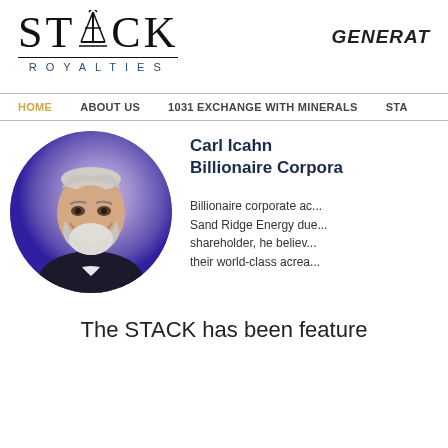[Figure (logo): Stack Royalties logo with oil derrick icon, company name in serif font with ROYALTIES below in spaced sans-serif]
GENERAT
HOME   ABOUT US   1031 EXCHANGE WITH MINERALS   STA
[Figure (photo): Circular portrait photo of Carl Icahn, elderly man with white beard smiling, wearing dark suit, purple/blue blurred background]
Carl Icahn
Billionaire Corpora
Billionaire corporate ac... Sand Ridge Energy due... shareholder, he believ... their world-class acrea...
The STACK has been feature